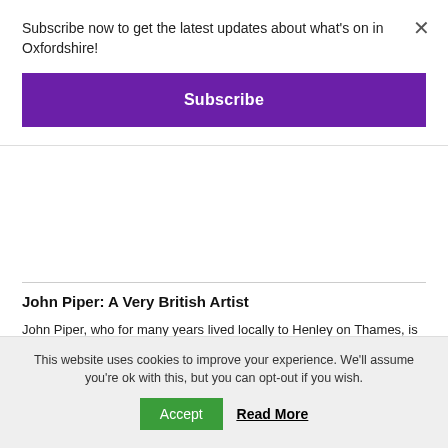Subscribe now to get the latest updates about what's on in Oxfordshire!
Subscribe
John Piper: A Very British Artist
John Piper, who for many years lived locally to Henley on Thames, is one of Britain's most prolific and versatile artists of the 20th century. The River & Rowing Museum's dedicated and nationally significant John Piper Gallery, opened following successful crowd-funding with the support of the Art Fund in 2016, features works from private and public collections, many on display for the first time, demonstrating Piper's outstanding
This website uses cookies to improve your experience. We'll assume you're ok with this, but you can opt-out if you wish.
Accept
Read More